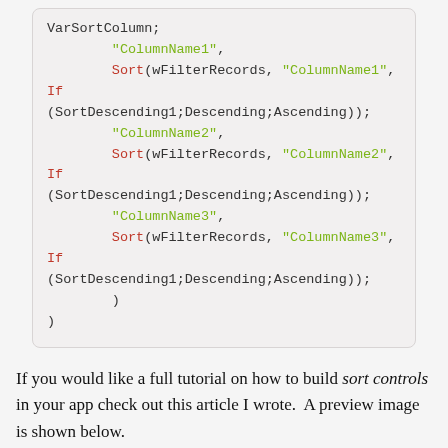[Figure (screenshot): Code block showing a PowerApps/formula sort switch statement with VarSortColumn, ColumnName1, ColumnName2, ColumnName3 Sort calls using wFilterRecords, SortDescending1, Descending, Ascending]
If you would like a full tutorial on how to build sort controls in your app check out this article I wrote.  A preview image is shown below.
Article: Power Apps Gallery Sort Controls